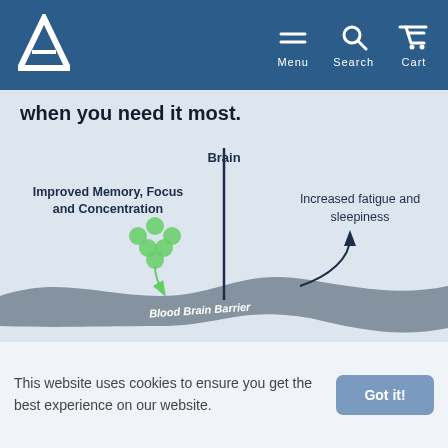Menu  Search  Cart
when you need it most.
[Figure (illustration): Diagram showing the Blood Brain Barrier as a wavy gray band across the bottom. A vertical dark blue line labeled 'Brain' descends from above and penetrates the barrier. On the left side, green circles (molecules) are shown crossing through the barrier with an arrow, labeled 'Improved Memory, Focus and Concentration'. On the right side, a curving arrow points upward from the barrier labeled 'Increased fatigue and sleepiness'. The barrier band has white italic text reading 'Blood Brain Barrier'.]
This website uses cookies to ensure you get the best experience on our website.